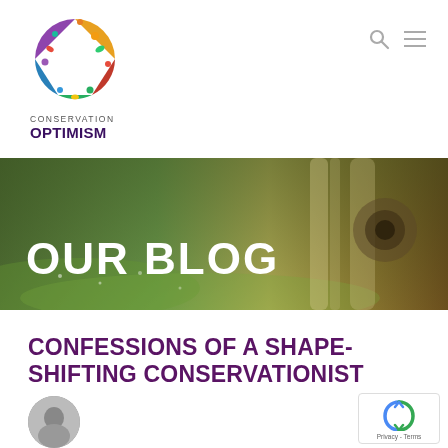[Figure (logo): Conservation Optimism circular logo made of colorful illustrated animals and plants]
CONSERVATION OPTIMISM
[Figure (photo): Hero banner image showing a peacock in a green meadow with waterfall background, overlaid with text OUR BLOG]
OUR BLOG
CONFESSIONS OF A SHAPE-SHIFTING CONSERVATIONIST
[Figure (photo): Small circular avatar photo of a person]